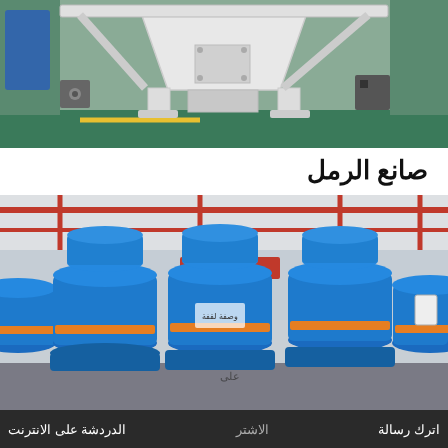[Figure (photo): Industrial white heavy-duty machine frame/crusher unit in a factory setting, viewed from the front, sitting on green factory floor.]
صانع الرمل
[Figure (photo): Multiple large blue and orange industrial grinding mill machines lined up in a factory warehouse with red steel structure overhead.]
الدردشة على الانترنت   الاشتر   اترك رسالة